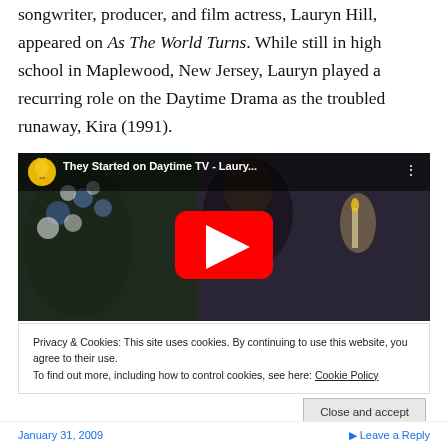songwriter, producer, and film actress, Lauryn Hill, appeared on As The World Turns. While still in high school in Maplewood, New Jersey, Lauryn played a recurring role on the Daytime Drama as the troubled runaway, Kira (1991).
[Figure (screenshot): YouTube video thumbnail for 'They Started on Daytime TV - Laury...' showing a dark scene with a woman, candle, and flowers. Red YouTube play button in center. Yellow Emmy Award logo in top-left corner.]
Privacy & Cookies: This site uses cookies. By continuing to use this website, you agree to their use. To find out more, including how to control cookies, see here: Cookie Policy
January 31, 2009   Leave a Reply